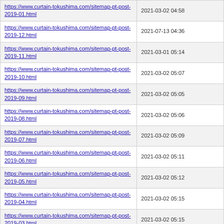| URL | Last Modified |
| --- | --- |
| https://www.curtain-tokushima.com/sitemap-pt-post-2019-01.html | 2021-03-02 04:58 |
| https://www.curtain-tokushima.com/sitemap-pt-post-2019-12.html | 2021-07-13 04:36 |
| https://www.curtain-tokushima.com/sitemap-pt-post-2019-11.html | 2021-03-01 05:14 |
| https://www.curtain-tokushima.com/sitemap-pt-post-2019-10.html | 2021-03-02 05:07 |
| https://www.curtain-tokushima.com/sitemap-pt-post-2019-09.html | 2021-03-02 05:05 |
| https://www.curtain-tokushima.com/sitemap-pt-post-2019-08.html | 2021-03-02 05:06 |
| https://www.curtain-tokushima.com/sitemap-pt-post-2019-07.html | 2021-03-02 05:09 |
| https://www.curtain-tokushima.com/sitemap-pt-post-2019-06.html | 2021-03-02 05:11 |
| https://www.curtain-tokushima.com/sitemap-pt-post-2019-05.html | 2021-03-02 05:12 |
| https://www.curtain-tokushima.com/sitemap-pt-post-2019-04.html | 2021-03-02 05:15 |
| https://www.curtain-tokushima.com/sitemap-pt-post-2019-03.html | 2021-03-02 05:15 |
| https://www.curtain-tokushima.com/sitemap-pt-post-2019-02.html | 2021-03-02 05:19 |
| https://www.curtain-tokushima.com/sitemap-pt-post-2019-01.html | 2021-03-02 05:21 |